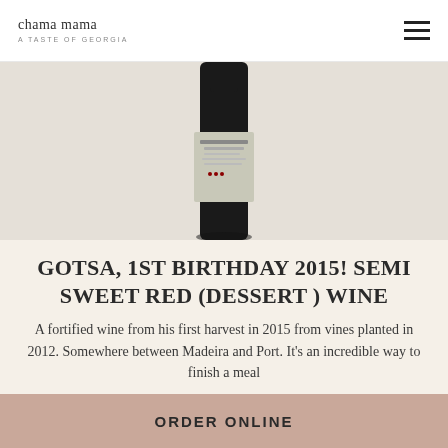chama mama · A TASTE OF GEORGIA
[Figure (photo): A wine bottle with label photographed against a light grey/beige background, showing the bottom portion and label of a dark wine bottle]
GOTSA, 1ST BIRTHDAY 2015! SEMI SWEET RED (DESSERT ) WINE
A fortified wine from his first harvest in 2015 from vines planted in 2012. Somewhere between Madeira and Port. It's an incredible way to finish a meal
Bottle $70
Glass $12
ORDER ONLINE